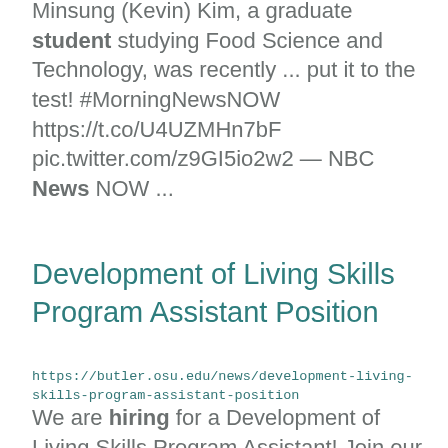Minsung (Kevin) Kim, a graduate student studying Food Science and Technology, was recently ... put it to the test! #MorningNewsNOW https://t.co/U4UZMHn7bF pic.twitter.com/z9GI5io2w2 — NBC News NOW ...
Development of Living Skills Program Assistant Position
https://butler.osu.edu/news/development-living-skills-program-assistant-position
We are hiring for a Development of Living Skills Program Assistant! Join our Team!